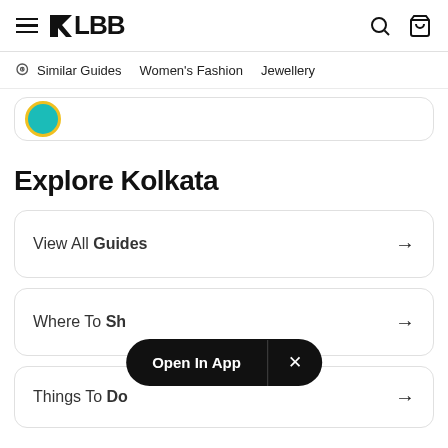LBB
Similar Guides   Women's Fashion   Jewellery
[Figure (screenshot): Partial card with teal/yellow circle icon]
Explore Kolkata
View All Guides →
Where To Shop →
Open In App  ×
Things To Do →